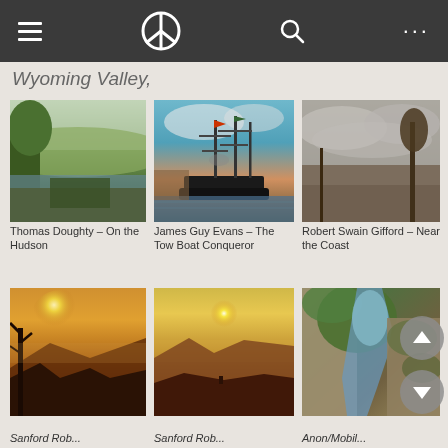Navigation bar with hamburger menu, peace symbol logo, search icon, and more options
Wyoming Valley,
[Figure (photo): Thomas Doughty – On the Hudson: landscape painting with green trees, river valley]
Thomas Doughty – On the Hudson
[Figure (photo): James Guy Evans – The Tow Boat Conqueror: painting of a tall ship with flags in harbor]
James Guy Evans – The Tow Boat Conqueror
[Figure (photo): Robert Swain Gifford – Near the Coast: landscape with cloudy sky and sparse trees]
Robert Swain Gifford – Near the Coast
[Figure (photo): Sanford Robinson painting – sunset landscape with tree silhouette and mountain valleys]
[Figure (photo): Sanford Robinson painting – golden sunset over valley with cliff]
[Figure (photo): Painting of mossy rocky cliffs]
Sanford Rob...
Sanford Rob...
Anon/Mobil...